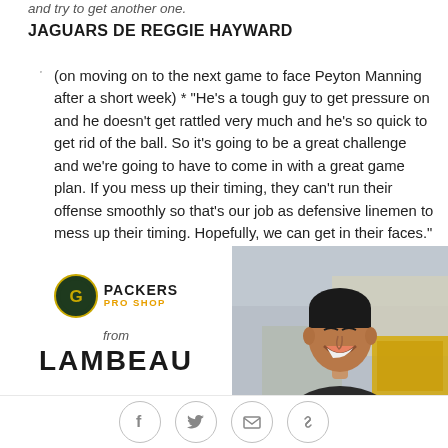and try to get another one.
JAGUARS DE REGGIE HAYWARD
(on moving on to the next game to face Peyton Manning after a short week) * "He's a tough guy to get pressure on and he doesn't get rattled very much and he's so quick to get rid of the ball. So it's going to be a great challenge and we're going to have to come in with a great game plan. If you mess up their timing, they can't run their offense smoothly so that's our job as defensive linemen to mess up their timing. Hopefully, we can get in their faces."
[Figure (illustration): Packers Pro Shop advertisement banner showing a smiling man and the text 'from LAMBEAU' with the Packers logo]
Social share icons: Facebook, Twitter, Email, Link